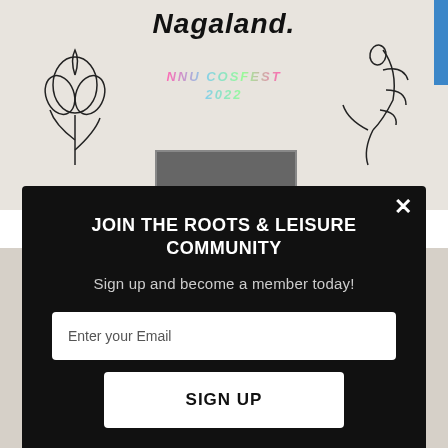[Figure (screenshot): Website background showing 'Nagaland.' title with floral decorations, NNU COSFEST 2022 banner, and social media content including naga_esports_association handle and SUMO branding badge]
JOIN THE ROOTS & LEISURE COMMUNITY
Sign up and become a member today!
Enter your Email
SIGN UP